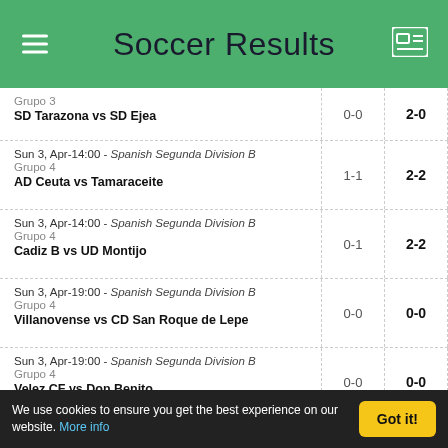Soccer Results
| Match | HT | FT |
| --- | --- | --- |
| Grupo 3 | SD Tarazona vs SD Ejea | 0-0 | 2-0 |
| Sun 3, Apr-14:00 - Spanish Segunda Division B | Grupo 4 | AD Ceuta vs Tamaraceite | 1-1 | 2-2 |
| Sun 3, Apr-14:00 - Spanish Segunda Division B | Grupo 4 | Cadiz B vs UD Montijo | 0-1 | 2-2 |
| Sun 3, Apr-19:00 - Spanish Segunda Division B | Grupo 4 | Villanovense vs CD San Roque de Lepe | 0-0 | 0-0 |
| Sun 3, Apr-19:00 - Spanish Segunda Division B | Grupo 4 | Velez CF vs Don Benito | 0-0 | 0-0 |
| Sun 3, Apr-19:30 - Spanish Segunda Division B | Grupo 4 | Cacereno vs Cordoba C.F. | 1-1 | 2-2 |
| Sun 3, Apr-15:00 - Spanish Segunda Division B | Grupo 4 | Las Palmas Atletico vs CD Mensajero | 2-1 | 2-1 |
| Sun 3, Apr-15:00 - Spanish Segunda Division B |  |  |
We use cookies to ensure you get the best experience on our website. More info